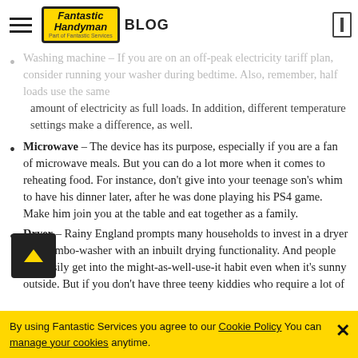Fantastic Handyman BLOG
Washing machine – If you are on an off-peak electricity tariff plan, consider running your washer during bedtime. Also, remember, half loads use the same amount of electricity as full loads. In addition, different temperature settings make a difference, as well.
Microwave – The device has its purpose, especially if you are a fan of microwave meals. But you can do a lot more when it comes to reheating food. For instance, don't give into your teenage son's whim to have his dinner later, after he was done playing his PS4 game. Make him join you at the table and eat together as a family.
Dryer – Rainy England prompts many households to invest in a dryer or a combo-washer with an inbuilt drying functionality. And people can easily get into the might-as-well-use-it habit even when it's sunny outside. But if you don't have three teeny kiddies who require a lot of
By using Fantastic Services you agree to our Cookie Policy You can manage your cookies anytime.